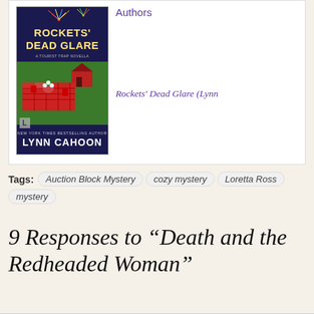[Figure (photo): Book cover of 'Rockets' Dead Glare' by Lynn Cahoon, a Tourist Trap Novella. Cover shows a picnic scene with red checkered tablecloth, flowers, fireworks at top, and a red barn in background.]
Authors
Rockets' Dead Glare (Lynn
Tags: Auction Block Mystery  cozy mystery  Loretta Ross  mystery
9 Responses to “Death and the Redheaded Woman”